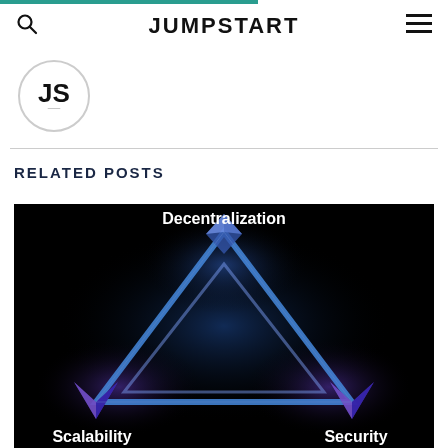JUMPSTART
[Figure (logo): JS logo in circle with script underline]
RELATED POSTS
[Figure (illustration): Dark background blockchain trilemma triangle diagram with labels: Decentralization (top), Scalability (bottom left), Security (bottom right). Blue glowing triangle with 3D geometric shapes at each corner.]